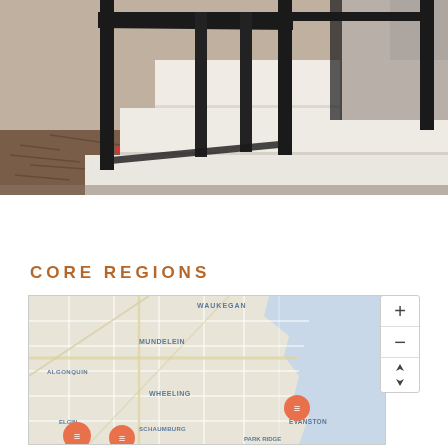[Figure (photo): Exterior concrete stairs with black metal railings, mulch landscaping with red flowers visible at base, light gray steps leading up]
CORE REGIONS
[Figure (map): Interactive map of northern Chicago suburban area showing locations including Waukegan, Mundelein, Algonquin, Wheeling, Elgin, Schaumburg, Evanston, Park Ridge with orange location pin markers. Map includes zoom controls (+/-) and compass button on right side.]